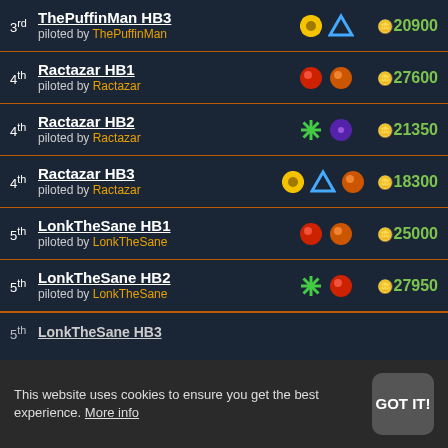3rd ThePuffinMan HB3 piloted by ThePuffinMan — 20900
4th Ractazar HB1 piloted by Ractazar — 27600
4th Ractazar HB2 piloted by Ractazar — 21350
4th Ractazar HB3 piloted by Ractazar — 18300
5th LonkTheSane HB1 piloted by LonkTheSane — 25000
5th LonkTheSane HB2 piloted by LonkTheSane — 27950
LonkTheSane HB3 (partially visible)
This website uses cookies to ensure you get the best experience. More info